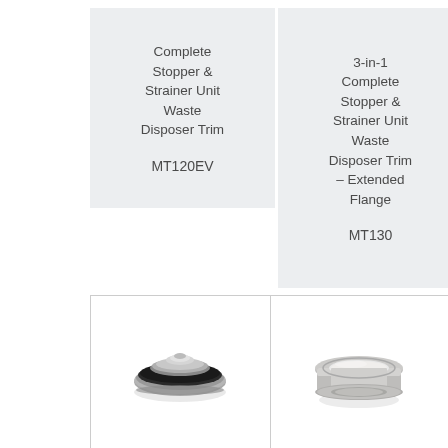[Figure (other): Product label box: Complete Stopper & Strainer Unit Waste Disposer Trim, model MT120EV]
[Figure (other): Product label box: 3-in-1 Complete Stopper & Strainer Unit Waste Disposer Trim – Extended Flange, model MT130]
[Figure (photo): Photo of a sink stopper/strainer unit with rubber seal ring (MT120EV)]
[Figure (photo): Photo of an extended flange waste disposer trim ring (MT130)]